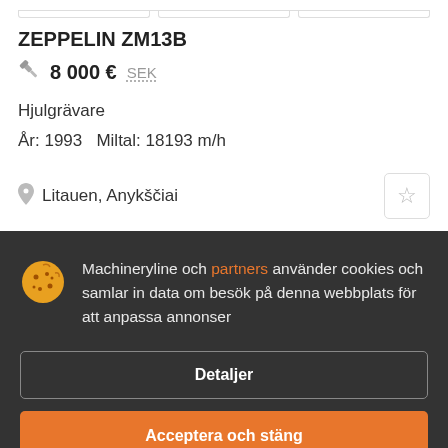ZEPPELIN ZM13B
🔨 8 000 €  SEK
Hjulgrävare
År: 1993   Miltal: 18193 m/h
📍 Litauen, Anykščiai
Machineryline och partners använder cookies och samlar in data om besök på denna webbplats för att anpassa annonser
Detaljer
Acceptera och stäng